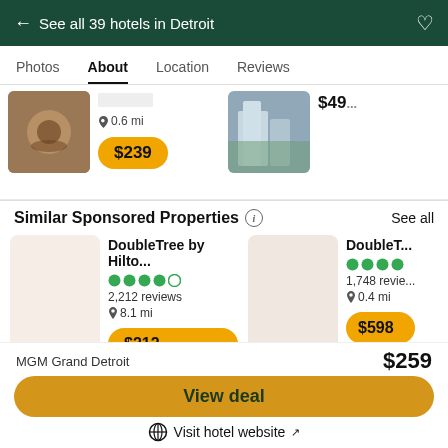← See all 39 hotels in Detroit
Photos | About | Location | Reviews
0.6 mi  $239
$49...
Similar Sponsored Properties
See all
DoubleTree by Hilto...
2,212 reviews
8.1 mi
$212
DoubleT...
1,748 revie...
0.4 mi
$598
MGM Grand Detroit  $259
View deal
Visit hotel website ↗